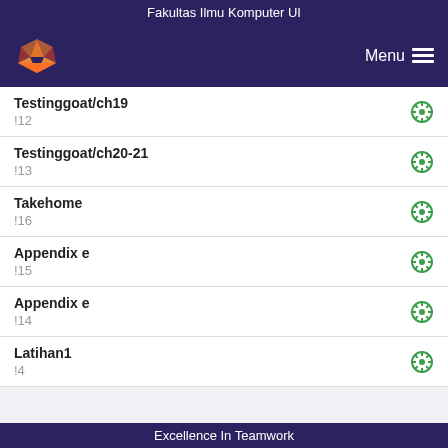Fakultas Ilmu Komputer UI
[Figure (logo): GitLab fox logo in orange/yellow on dark purple navigation bar with Menu hamburger icon]
Testinggoat/ch19
!12
Testinggoat/ch20-21
!13
Takehome
!16
Appendix e
!15
Appendix e
!14
Latihan1
!4
Excellence In Teamwork